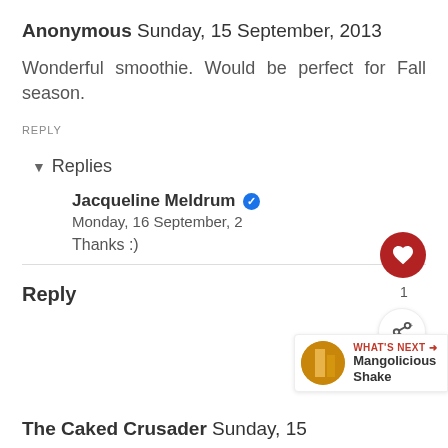Anonymous Sunday, 15 September, 2013
Wonderful smoothie. Would be perfect for Fall season.
REPLY
▾ Replies
Jacqueline Meldrum ✔ Monday, 16 September, 2…
Thanks :)
Reply
[Figure (screenshot): Like button (red circle with heart), count of 1, and share button]
[Figure (screenshot): WHAT'S NEXT arrow with thumbnail image and label Mangolicious Shake]
The Caked Crusader Sunday, 15